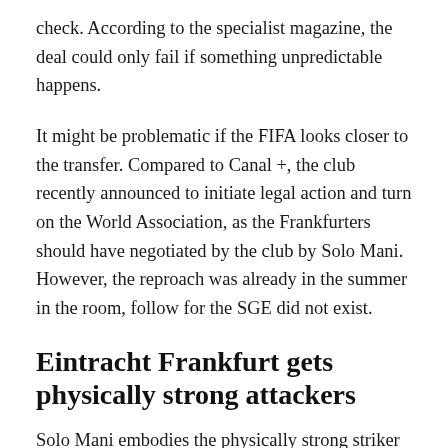check. According to the specialist magazine, the deal could only fail if something unpredictable happens.
It might be problematic if the FIFA looks closer to the transfer. Compared to Canal +, the club recently announced to initiate legal action and turn on the World Association, as the Frankfurters should have negotiated by the club by Solo Mani. However, the reproach was already in the summer in the room, follow for the SGE did not exist.
Eintracht Frankfurt gets physically strong attackers
Solo Mani embodies the physically strong striker types,